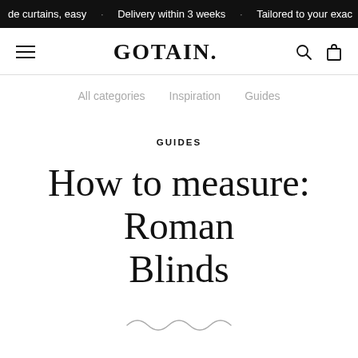de curtains, easy · Delivery within 3 weeks · Tailored to your exac
GOTAIN.
All categories   Inspiration   Guides
GUIDES
How to measure: Roman Blinds